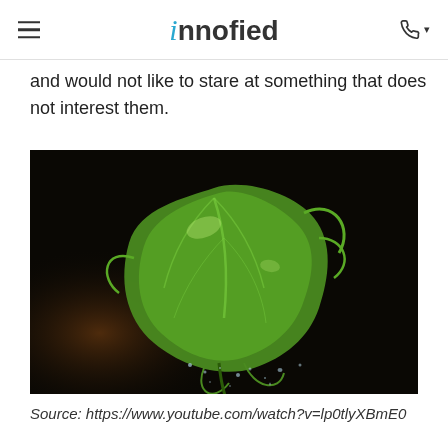innofied
and would not like to stare at something that does not interest them.
[Figure (photo): A bright green lettuce leaf appears to float or fly against a dark black background, with water droplets falling below it. High-contrast macro food photography.]
Source: https://www.youtube.com/watch?v=lp0tlyXBmE0